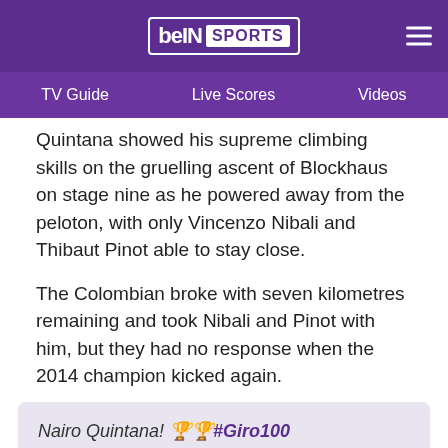[Figure (logo): beIN Sports logo with navigation bar showing TV Guide, Live Scores, Videos]
Quintana showed his supreme climbing skills on the gruelling ascent of Blockhaus on stage nine as he powered away from the peloton, with only Vincenzo Nibali and Thibaut Pinot able to stay close.
The Colombian broke with seven kilometres remaining and took Nibali and Pinot with him, but they had no response when the 2014 champion kicked again.
Nairo Quintana! 🏆🏆#Giro100 pic.twitter.com/8607BYTi6a — Giro d'Italia (@giroditalia) May 14